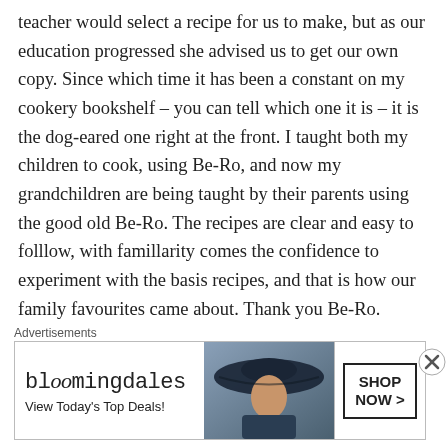teacher would select a recipe for us to make, but as our education progressed she advised us to get our own copy. Since which time it has been a constant on my cookery bookshelf – you can tell which one it is – it is the dog-eared one right at the front. I taught both my children to cook, using Be-Ro, and now my grandchildren are being taught by their parents using the good old Be-Ro. The recipes are clear and easy to folllow, with famillarity comes the confidence to experiment with the basis recipes, and that is how our family favourites came about. Thank you Be-Ro.
Advertisements
[Figure (other): Bloomingdale's advertisement banner with logo, tagline 'View Today's Top Deals!', image of woman in wide-brim hat, and 'SHOP NOW >' button]